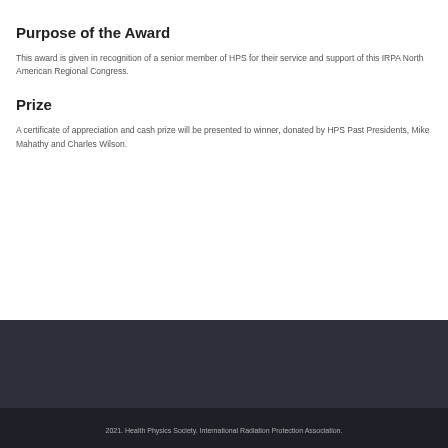Purpose of the Award
This award is given in recognition of a senior member of HPS for their service and support of this IRPA North American Regional Congress.
Prize
A certificate of appreciation and cash prize will be presented to winner, donated by HPS Past Presidents, Mike Mahathy and Charles Wilson.
2021. Health Physics Society. International Radiation Protection Association.